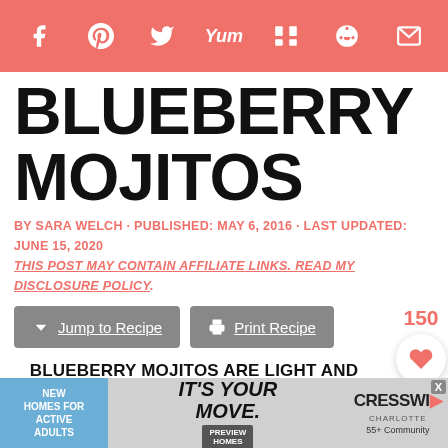Social share bar with icons: Facebook, Pinterest, Twitter, Yummly, Mix, Reddit, Email
BLUEBERRY MOJITOS
BY SARA WELCH · PUBLISHED: MAY 6, 2016 · LAST UPDATED: JUNE 15, 2020
THIS POST MAY CONTAIN AFFILIATE LINKS. READ MY DISCLOSURE POLICY.
Jump to Recipe  Print Recipe  150
BLUEBERRY MOJITOS ARE LIGHT AND REFRESHING SUMMER DRINK THAT SO EASY TO PUT TOGETHER – PERFECT FOR ANY PARTY OR CASUAL GATHERING!
[Figure (other): Advertisement banner: New Homes for Active Adults - It's Your Move - Cresswind Charlotte 55+ Community]